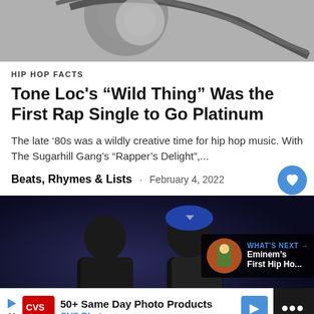[Figure (photo): Black and white photo, partial view, top of page]
HIP HOP FACTS
Tone Loc's “Wild Thing” Was the First Rap Single to Go Platinum
The late ‘80s was a wildly creative time for hip hop music. With The Sugarhill Gang’s “Rapper’s Delight”,...
Beats, Rhymes & Lists · February 4, 2022
[Figure (photo): Two hip hop artists photographed, one wearing a blue cap, dark background]
WHAT’S NEXT → Eminem’s First Hip Ho...
50+ Same Day Photo Products CVSPhoto